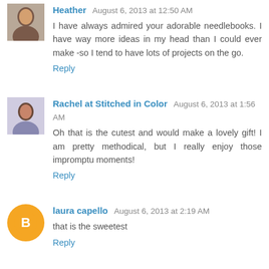Heather  August 6, 2013 at 12:50 AM
I have always admired your adorable needlebooks. I have way more ideas in my head than I could ever make -so I tend to have lots of projects on the go.
Reply
Rachel at Stitched in Color  August 6, 2013 at 1:56 AM
Oh that is the cutest and would make a lovely gift! I am pretty methodical, but I really enjoy those impromptu moments!
Reply
laura capello  August 6, 2013 at 2:19 AM
that is the sweetest
Reply
Jocelyn  August 6, 2013 at 2:34 AM